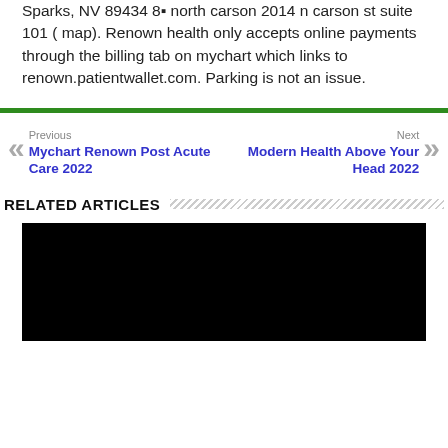Sparks, NV 89434 8▪ north carson 2014 n carson st suite 101 ( map). Renown health only accepts online payments through the billing tab on mychart which links to renown.patientwallet.com. Parking is not an issue.
Previous: Mychart Renown Post Acute Care 2022
Next: Modern Health Above Your Head 2022
RELATED ARTICLES
[Figure (photo): Black image placeholder for a related article thumbnail]